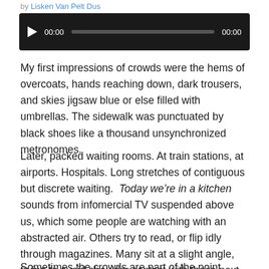by Lisken Van Pelt Dus
[Figure (other): Audio player widget with play button, start time 00:00, progress bar, and end time 00:00 on a dark background]
My first impressions of crowds were the hems of overcoats, hands reaching down, dark trousers, and skies jigsaw blue or else filled with umbrellas. The sidewalk was punctuated by black shoes like a thousand unsynchronized metronomes.
Later, packed waiting rooms. At train stations, at airports. Hospitals. Long stretches of contiguous but discrete waiting.  Today we’re in a kitchen sounds from infomercial TV suspended above us, which some people are watching with an abstracted air. Others try to read, or flip idly through magazines. Many sit at a slight angle, trying to avoid shoulder contact with those next to them.
Sometimes the crowds are part of the point. Sporting